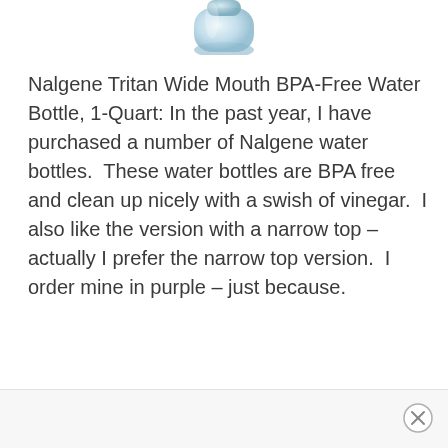[Figure (photo): Partial bottom view of a Nalgene water bottle, light blue/clear, cropped at top of page]
Nalgene Tritan Wide Mouth BPA-Free Water Bottle, 1-Quart: In the past year, I have purchased a number of Nalgene water bottles.  These water bottles are BPA free and clean up nicely with a swish of vinegar.  I also like the version with a narrow top – actually I prefer the narrow top version.  I order mine in purple – just because.